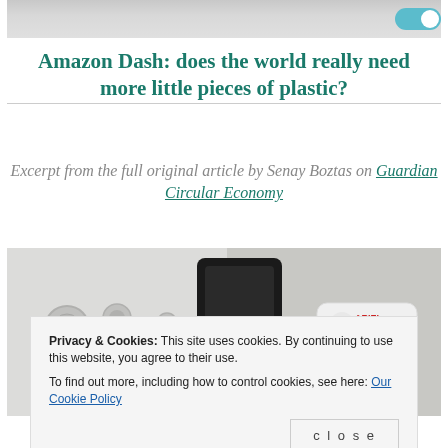[Figure (photo): Top partial image showing a toggle switch / Amazon Dash button interface, light grey background with a blue toggle pill on the right side.]
Amazon Dash: does the world really need more little pieces of plastic?
Excerpt from the full original article by Senay Boztas on Guardian Circular Economy
[Figure (photo): Photograph showing an Amazon Dash Ariel button (small white oval device with green Ariel logo) placed next to a dark electronic device, likely a washing machine or appliance.]
Privacy & Cookies: This site uses cookies. By continuing to use this website, you agree to their use.
To find out more, including how to control cookies, see here: Our Cookie Policy